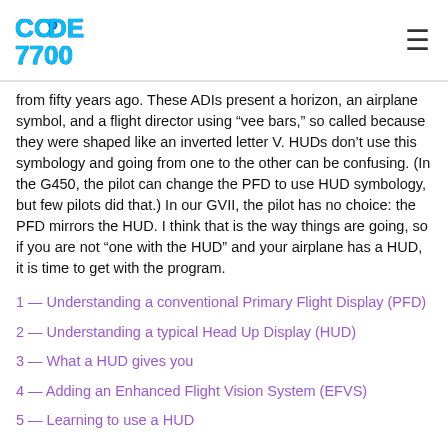CODE 7700
from fifty years ago. These ADIs present a horizon, an airplane symbol, and a flight director using “vee bars,” so called because they were shaped like an inverted letter V. HUDs don’t use this symbology and going from one to the other can be confusing. (In the G450, the pilot can change the PFD to use HUD symbology, but few pilots did that.) In our GVII, the pilot has no choice: the PFD mirrors the HUD. I think that is the way things are going, so if you are not “one with the HUD” and your airplane has a HUD, it is time to get with the program.
1 — Understanding a conventional Primary Flight Display (PFD)
2 — Understanding a typical Head Up Display (HUD)
3 — What a HUD gives you
4 — Adding an Enhanced Flight Vision System (EFVS)
5 — Learning to use a HUD